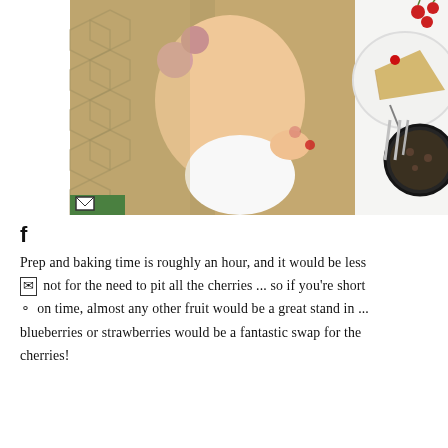[Figure (photo): Two photos side by side: left photo shows a woman with hair curlers and honeycomb-patterned fabric, lying back and smiling; right photo shows an overhead view of a cake slice on a plate with a fork, cherries scattered around, and a dark round baking pan with cake.]
f
Prep and baking time is roughly an hour, and it would be less
[icon] not for the need to pit all the cherries ... so if you're short
[icon] on time, almost any other fruit would be a great stand in ...
blueberries or strawberries would be a fantastic swap for the
cherries!